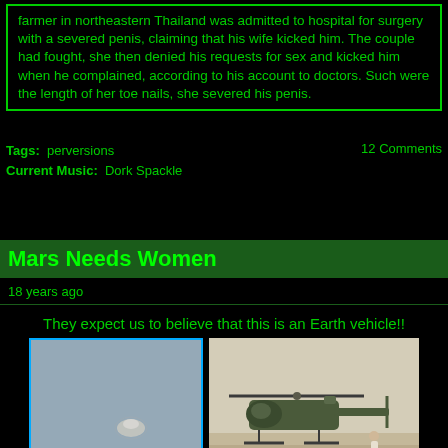farmer in northeastern Thailand was admitted to hospital for surgery with a severed penis, claiming that his wife kicked him. The couple had fought, she then denied his requests for sex and kicked him when he complained, according to his account to doctors. Such were the length of her toe nails, she severed his penis.
Tags: perversions
Current Music: Dork Spackle
12 Comments
Mars Needs Women
18 years ago
They expect us to believe that this is an Earth vehicle!!
[Figure (photo): Small blurry object (possible UFO/disc shape) against a grey sky background, image framed with blue border]
[Figure (photo): Military helicopter (Black Hawk type) on a desert/sandy airfield with a person running nearby]